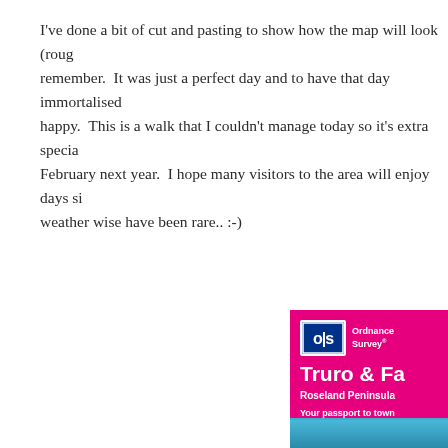I've done a bit of cut and pasting to show how the map will look (roug remember.  It was just a perfect day and to have that day immortalised happy.  This is a walk that I couldn't manage today so it's extra specia February next year.  I hope many visitors to the area will enjoy days si weather wise have been rare.. :-)
[Figure (other): Ordnance Survey map cover for Truro & Fa... (Falmouth implied), Roseland Peninsula, showing OS logo, pink/magenta background with blue strip at bottom. Text reads: Your passport to town...]